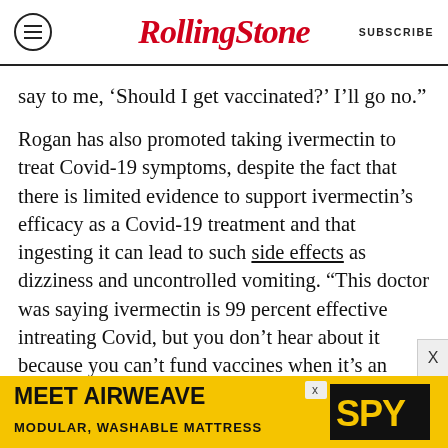Rolling Stone | SUBSCRIBE
say to me, 'Should I get vaccinated?' I'll go no."
Rogan has also promoted taking ivermectin to treat Covid-19 symptoms, despite the fact that there is limited evidence to support ivermectin's efficacy as a Covid-19 treatment and that ingesting it can lead to such side effects as dizziness and uncontrolled vomiting. “This doctor was saying ivermectin is 99 percent effective intreating Covid, but you don’t hear about it because you can’t fund vaccines when it’s an effective treatment,” he said on the same April episode of his podcast, as Rolling Stone previously reported. “I don’t know if this guy is right or wrong, I’m just asking questions,” Rogan
[Figure (other): Advertisement banner for Airweave modular washable mattress with SPY logo on yellow background]